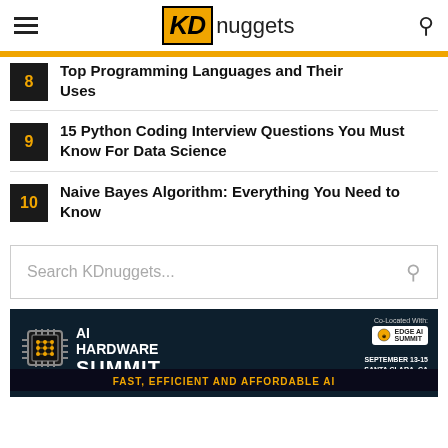KDnuggets
8 Top Programming Languages and Their Uses
9 15 Python Coding Interview Questions You Must Know For Data Science
10 Naive Bayes Algorithm: Everything You Need to Know
Search KDnuggets...
[Figure (other): AI Hardware Summit advertisement banner. Co-Located With: Edge AI Summit. September 13-15, Santa Clara, CA. Fast, Efficient and Affordable AI.]